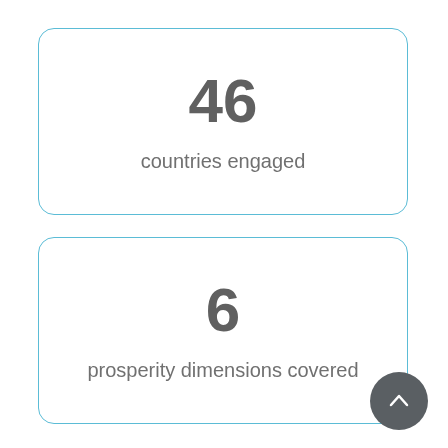46
countries engaged
6
prosperity dimensions covered